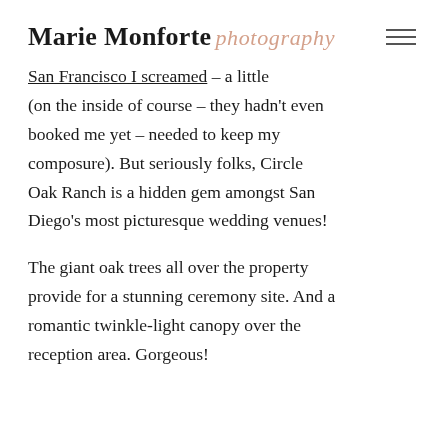Marie Monforte photography
San Francisco I screamed – a little (on the inside of course – they hadn't even booked me yet – needed to keep my composure). But seriously folks, Circle Oak Ranch is a hidden gem amongst San Diego's most picturesque wedding venues!

The giant oak trees all over the property provide for a stunning ceremony site. And a romantic twinkle-light canopy over the reception area. Gorgeous!